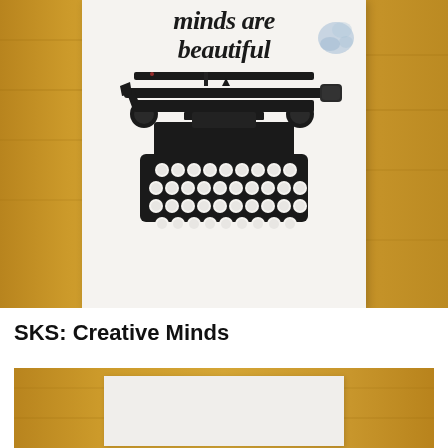[Figure (photo): Photo of a greeting card on a wooden desk showing cursive script text 'minds are beautiful' and a vintage typewriter illustration below it. There is a small watercolor floral decoration in the upper right of the card.]
SKS: Creative Minds
[Figure (photo): Partial photo of another card or paper on a wooden desk, only the top portion visible showing a white card with faint markings.]